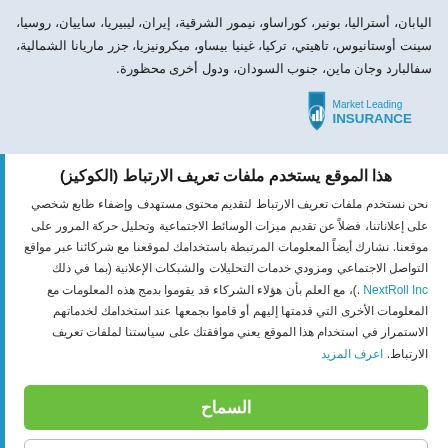اليابان، أستراليا، بونير، كوراساو، نيمور الشرقية، إيران، ليبيريا، ساييان، روسيا، سينت أوستانيوس، تاهيتي، تركيا، غينيا بيساو، ميكرونيزيا، جزر ماريانا الشمالية، سفالبارد وجان ماين، جنوب السودان، ودول أخرى محظورة.
[Figure (logo): Market Leading Insurance logo — blue shield with chart icon and text]
هذا الموقع يستخدم ملفات تعريف الارتباط (الكوكيز)
نحن نستخدم ملفات تعريف الارتباط لتقديم محتوى مستهدف وإضفاء طابع شخصي على إعلاناتنا، فضلاً عن تقديم ميزات الوسائط الاجتماعية وتحليل حركة المرور على موقعنا. نشارك أيضاً المعلومات المرتبطة باستخدامك لموقعنا مع شركائنا عبر مواقع التواصل الاجتماعي ومزودي خدمات التحليلات والشبكات الإعلانية (بما في ذلك NextRoll Inc .)، مع العلم بأن هؤلاء الشركاء قد يقوموا بدمج هذه المعلومات مع المعلومات الأخرى التي قدمتها إليهم أو قاموا بجمعها عند استخدامك لخدماتهم الاستمرار في استخدام هذا الموقع يعني موافقتك على سياستنا لملفات تعريف الارتباط. اعرف المزيد
السماح
رفض